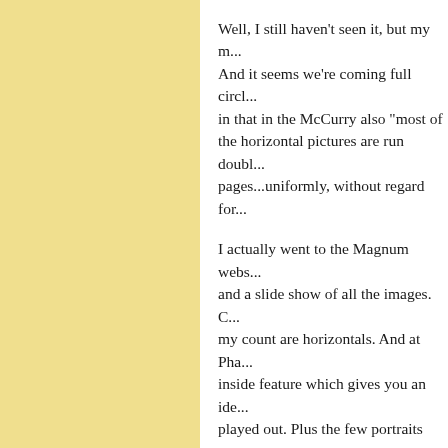Well, I still haven't seen it, but my m... And it seems we're coming full circle in that in the McCurry also "most of the horizontal pictures are run double pages...uniformly, without regard for...
I actually went to the Magnum website and a slide show of all the images. C... my count are horizontals. And at Pha... inside feature which gives you an ide... played out. Plus the few portraits are... they ran out of paper ...
I'm afraid that kills it for me, and I'm...
Posted by: Hendrik | Wednesday, 06 July 2011 at 07:0...
The comments to this entry are close...